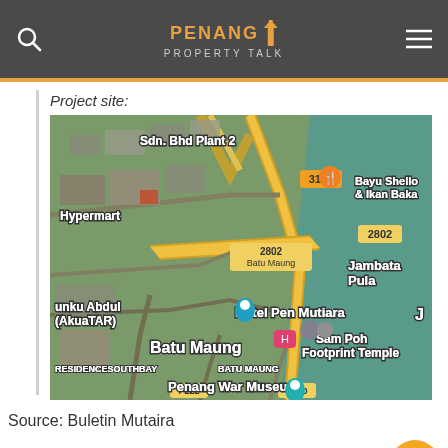Penang Property Talk
Project site:
[Figure (map): Satellite map showing Batu Maung area in Penang, Malaysia. Visible landmarks include: Sdn. Bhd Plant 2, Hypermart, Hotel Pen Mutiara, Sam Poh Footprint Temple, Penang War Museum, Jambatan Pulau, Bayu Shello & Ikan Baka, road labels 3113, 2802, P222, P220, Batu Maung label, RESIDENCESOUTHBAY, BATU MAUNG, AkuaTAR.]
Source: Buletin Mutaira